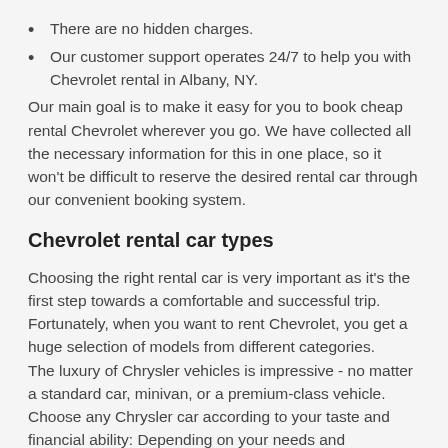There are no hidden charges.
Our customer support operates 24/7 to help you with Chevrolet rental in Albany, NY.
Our main goal is to make it easy for you to book cheap rental Chevrolet wherever you go. We have collected all the necessary information for this in one place, so it won't be difficult to reserve the desired rental car through our convenient booking system.
Chevrolet rental car types
Choosing the right rental car is very important as it's the first step towards a comfortable and successful trip. Fortunately, when you want to rent Chevrolet, you get a huge selection of models from different categories.
The luxury of Chrysler vehicles is impressive - no matter a standard car, minivan, or a premium-class vehicle. Choose any Chrysler car according to your taste and financial ability: Depending on your needs and preferences, Rental24h.com offers you to book Chevrolet rental cars of the following